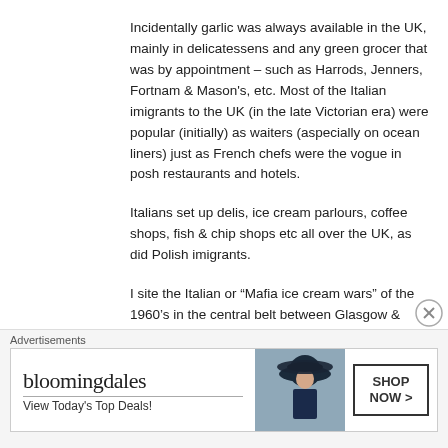Incidentally garlic was always available in the UK, mainly in delicatessens and any green grocer that was by appointment – such as Harrods, Jenners, Fortnam & Mason's, etc. Most of the Italian imigrants to the UK (in the late Victorian era) were popular (initially) as waiters (aspecially on ocean liners) just as French chefs were the vogue in posh restaurants and hotels.
Italians set up delis, ice cream parlours, coffee shops, fish & chip shops etc all over the UK, as did Polish imigrants.
I site the Italian or “Mafia ice cream wars” of the 1960’s in the central belt between Glasgow & Edinburgh !
★ Like
Advertisements
[Figure (other): Bloomingdale's advertisement banner showing logo, 'View Today's Top Deals!' tagline, woman with hat image, and 'SHOP NOW >' button]